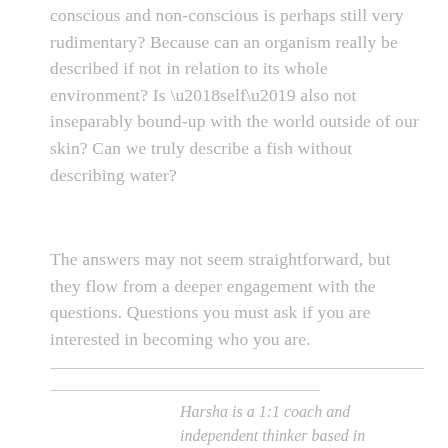conscious and non-conscious is perhaps still very rudimentary? Because can an organism really be described if not in relation to its whole environment? Is ‘self’ also not inseparably bound-up with the world outside of our skin? Can we truly describe a fish without describing water?
The answers may not seem straightforward, but they flow from a deeper engagement with the questions. Questions you must ask if you are interested in becoming who you are.
Harsha is a 1:1 coach and independent thinker based in